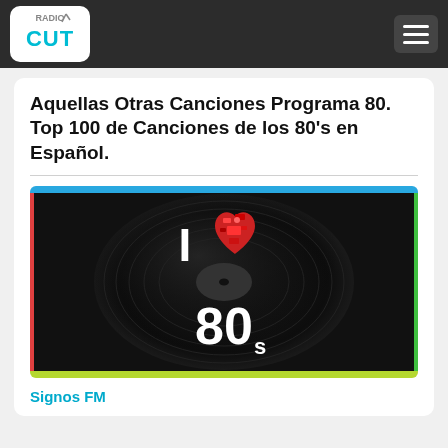RadioCut
Aquellas Otras Canciones Programa 80. Top 100 de Canciones de los 80's en Español.
[Figure (illustration): I Love 80s graphic on a vinyl record background with 'I ♥ 80s' text in white, heart made of red 80s icons]
Signos FM